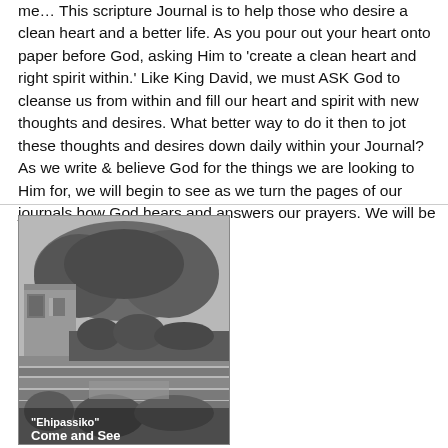me… This scripture Journal is to help those who desire a clean heart and a better life. As you pour out your heart onto paper before God, asking Him to 'create a clean heart and right spirit within.' Like King David, we must ASK God to cleanse us from within and fill our heart and spirit with new thoughts and desires. What better way to do it then to jot these thoughts and desires down daily within your Journal? As we write & believe God for the things we are looking to Him for, we will begin to see as we turn the pages of our journals how God hears and answers our prayers. We will be reminded daily of God's G ...
[Figure (photo): Black and white photograph of an outdoor garden or estate scene with trees, hedges, a stone building or wall on the left, and terraced landscaping. Text overlay at bottom reads: "Ehipassiko" Come and See]